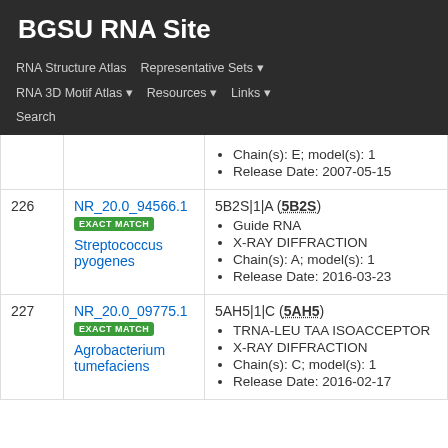BGSU RNA Site
RNA Structure Atlas | Representative Sets ▾ | RNA 3D Motif Atlas ▾ | Resources ▾ | Links ▾ | Search
| # | ID | Info |
| --- | --- | --- |
|  |  | Chain(s): E; model(s): 1
Release Date: 2007-05-15 |
| 226 | NR_20.0_94566.1
EXACT MATCH
Streptococcus pyogenes | 5B2S|1|A (5B2S)
Guide RNA
X-RAY DIFFRACTION
Chain(s): A; model(s): 1
Release Date: 2016-03-23 |
| 227 | NR_20.0_09775.1
EXACT MATCH
Agrobacterium tumefaciens | 5AH5|1|C (5AH5)
TRNA-LEU TAA ISOACCEPTOR
X-RAY DIFFRACTION
Chain(s): C; model(s): 1
Release Date: 2016-02-17 |